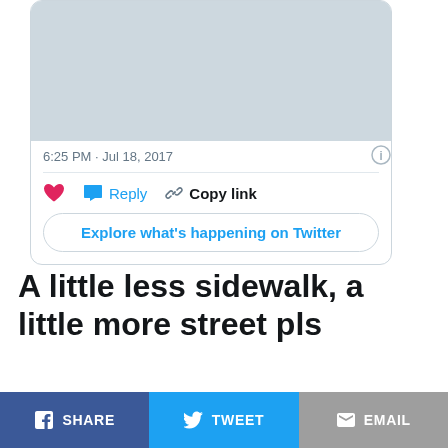[Figure (screenshot): Twitter embed card showing a tweet image placeholder (light blue-gray rectangle), timestamp '6:25 PM · Jul 18, 2017', like/reply/copy link actions, and 'Explore what's happening on Twitter' button]
A little less sidewalk, a little more street pls
[Figure (infographic): Social share buttons row: Facebook SHARE (dark blue), Twitter TWEET (blue), EMAIL (gray)]